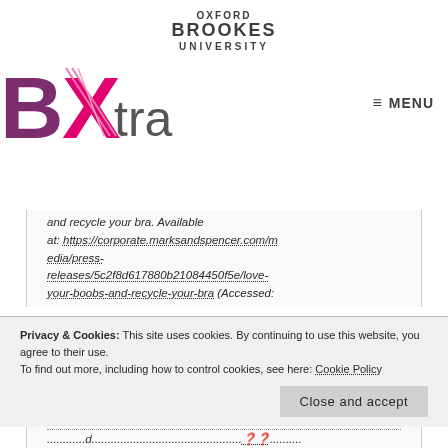[Figure (logo): Oxford Brookes University logo with text: OXFORD BROOKES UNIVERSITY]
[Figure (logo): BXtra logo with large purple B, pink X, and grey 'tra' text]
≡ MENU
and recycle your bra. Available at: https://corporate.marksandspencer.com/media/press-releases/5c2f8d617880b21084450f5e/love-your-boobs-and-recycle-your-bra (Accessed:
Privacy & Cookies: This site uses cookies. By continuing to use this website, you agree to their use.
To find out more, including how to control cookies, see here: Cookie Policy
Close and accept
...d...(Accessed: 10th May 2021)